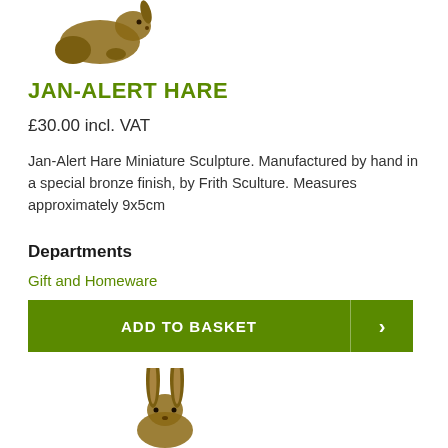[Figure (illustration): Bronze miniature hare sculpture crouched down, viewed from the side]
JAN-ALERT HARE
£30.00 incl. VAT
Jan-Alert Hare Miniature Sculpture. Manufactured by hand in a special bronze finish, by Frith Sculture. Measures approximately 9x5cm
Departments
Gift and Homeware
ADD TO BASKET
[Figure (illustration): Bronze miniature hare sculpture sitting upright with long ears, viewed from the front]